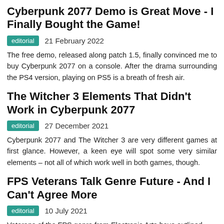Cyberpunk 2077 Demo is Great Move - I Finally Bought the Game!
editorial   21 February 2022
The free demo, released along patch 1.5, finally convinced me to buy Cyberpunk 2077 on a console. After the drama surrounding the PS4 version, playing on PS5 is a breath of fresh air.
The Witcher 3 Elements That Didn't Work in Cyberpunk 2077
editorial   27 December 2021
Cyberpunk 2077 and The Witcher 3 are very different games at first glance. However, a keen eye will spot some very similar elements – not all of which work well in both games, though.
FPS Veterans Talk Genre Future - And I Can't Agree More
editorial   10 July 2021
Veterans of the FPS genre from Electronic Arts have outlined